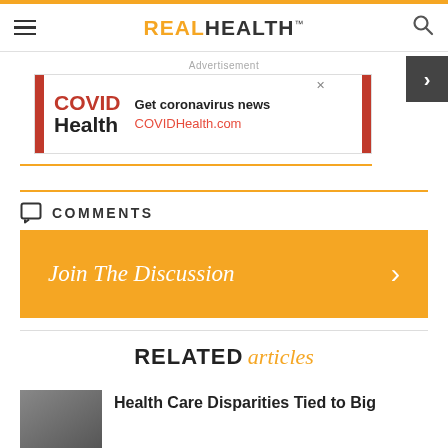REAL HEALTH
[Figure (other): COVID Health advertisement banner: COVID Health logo with Get coronavirus news COVIDHealth.com]
COMMENTS
Join The Discussion
RELATED articles
Health Care Disparities Tied to Big